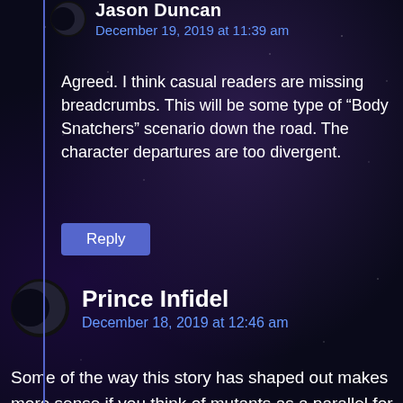Jason Duncan
December 19, 2019 at 11:39 am
Agreed. I think casual readers are missing breadcrumbs. This will be some type of “Body Snatchers” scenario down the road. The character departures are too divergent.
Reply
Prince Infidel
December 18, 2019 at 12:46 am
Some of the way this story has shaped out makes more sense if you think of mutants as a parallel for